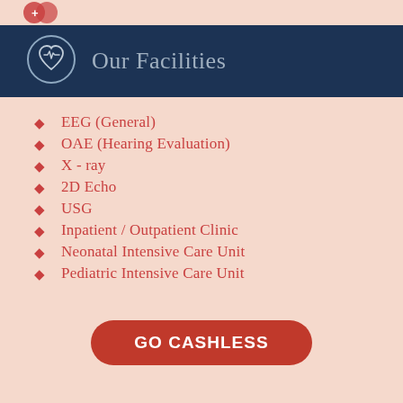[Figure (logo): Partial logo visible at top of page on peach background]
Our Facilities
EEG (General)
OAE (Hearing Evaluation)
X - ray
2D Echo
USG
Inpatient / Outpatient Clinic
Neonatal Intensive Care Unit
Pediatric Intensive Care Unit
GO CASHLESS